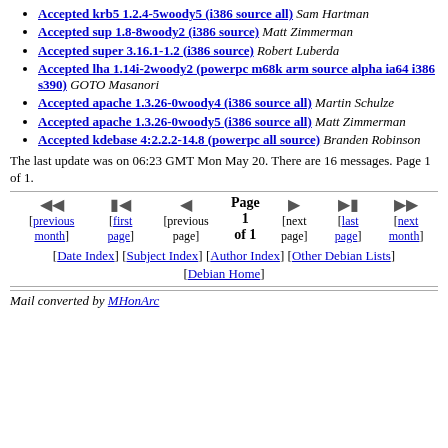Accepted krb5 1.2.4-5woody5 (i386 source all) Sam Hartman
Accepted sup 1.8-8woody2 (i386 source) Matt Zimmerman
Accepted super 3.16.1-1.2 (i386 source) Robert Luberda
Accepted lha 1.14i-2woody2 (powerpc m68k arm source alpha ia64 i386 s390) GOTO Masanori
Accepted apache 1.3.26-0woody4 (i386 source all) Martin Schulze
Accepted apache 1.3.26-0woody5 (i386 source all) Matt Zimmerman
Accepted kdebase 4:2.2.2-14.8 (powerpc all source) Branden Robinson
The last update was on 06:23 GMT Mon May 20. There are 16 messages. Page 1 of 1.
Navigation: previous month, first page, previous page, Page 1 of 1, next page, last page, next month
[Date Index] [Subject Index] [Author Index] [Other Debian Lists] [Debian Home]
Mail converted by MHonArc